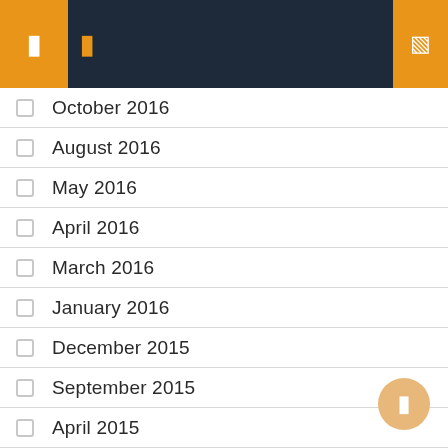Navigation header bar with menu icons
October 2016
August 2016
May 2016
April 2016
March 2016
January 2016
December 2015
September 2015
April 2015